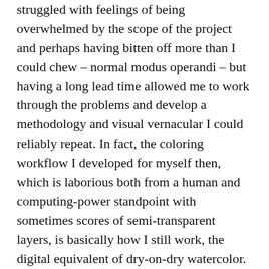struggled with feelings of being overwhelmed by the scope of the project and perhaps having bitten off more than I could chew – normal modus operandi – but having a long lead time allowed me to work through the problems and develop a methodology and visual vernacular I could reliably repeat. In fact, the coloring workflow I developed for myself then, which is laborious both from a human and computing-power standpoint with sometimes scores of semi-transparent layers, is basically how I still work, the digital equivalent of dry-on-dry watercolor. Even something deceptively simple like Grass Of Parnassus has a ridiculous number of steps.
What surprises me most is when people tell me that Secret Identity looks "painted" when it seems very obviously "computer-y" to me. I guess the combination of the soft pencil line and the limited palette are what people see, and not so much the